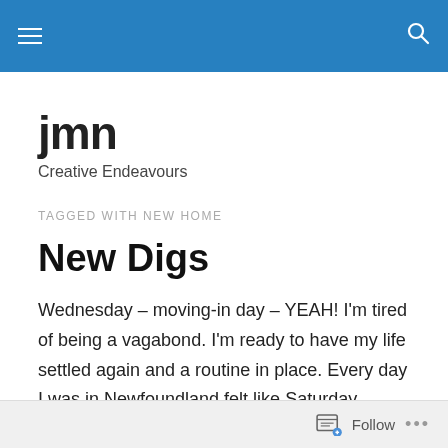jmn — blog header bar with menu and search icons
jmn
Creative Endeavours
TAGGED WITH NEW HOME
New Digs
Wednesday – moving-in day – YEAH! I'm tired of being a vagabond. I'm ready to have my life settled again and a routine in place. Every day I was in Newfoundland felt like Saturday.
Follow